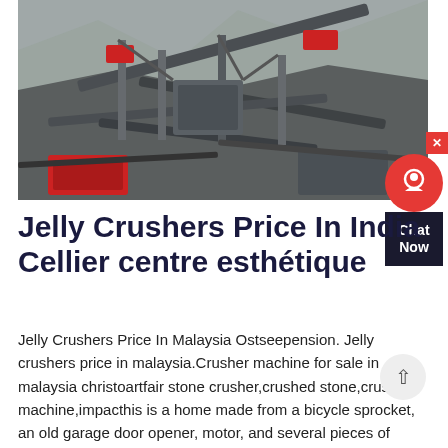[Figure (photo): Aerial view of industrial stone crusher machinery at a quarry site, showing conveyor belts, crushers, and heavy equipment on rocky terrain.]
Jelly Crushers Price In India Cellier centre esthétique
Jelly Crushers Price In Malaysia Ostseepension. Jelly crushers price in malaysia.Crusher machine for sale in malaysia christoartfair stone crusher,crushed stone,crusher machine,impacthis is a home made from a bicycle sprocket, an old garage door opener, motor, and several pieces of scrap wood lying around the shopis is an updated video.